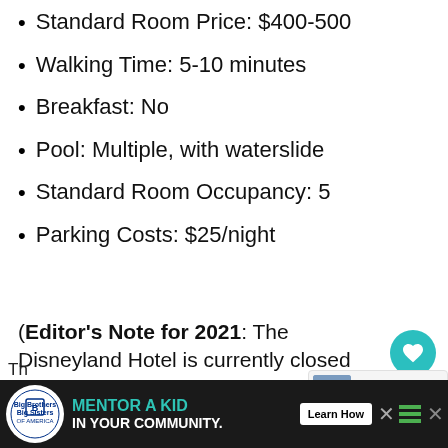Standard Room Price: $400-500
Walking Time: 5-10 minutes
Breakfast: No
Pool: Multiple, with waterslide
Standard Room Occupancy: 5
Parking Costs: $25/night
(Editor's Note for 2021: The Disneyland Hotel is currently closed with no announced reopening date yet.)
[Figure (other): Advertisement banner: Big Brothers Big Sisters - Mentor a Kid in Your Community. Learn How button.]